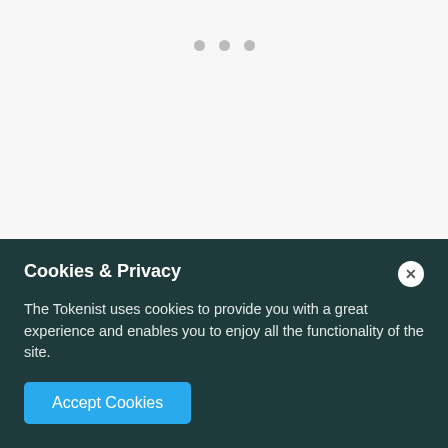[Figure (other): Three grey dots (loading indicator or pagination dots) on a light grey background]
It is also worthwhile to note that some experts believe that index funds are very bad for the market, especially as they promote inertia with
Cookies & Privacy
The Tokenist uses cookies to provide you with a great experience and enables you to enjoy all the functionality of the site.
Accept Cookies